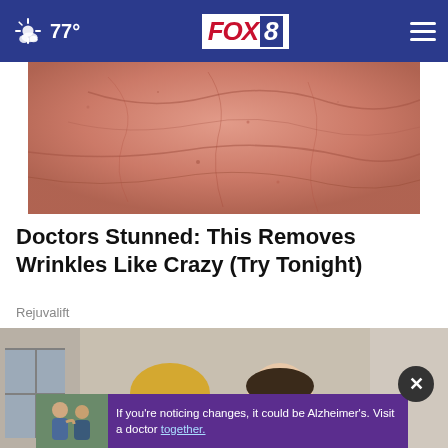77° FOX 8
[Figure (photo): Close-up macro photo of wrinkled human skin, reddish-pink tones]
Doctors Stunned: This Removes Wrinkles Like Crazy (Try Tonight)
Rejuvalift
[Figure (photo): A blonde woman and a man in a tuxedo posing together at a formal event]
[Figure (photo): Ad photo showing two men together outdoors]
If you're noticing changes, it could be Alzheimer's. Visit a doctor together.